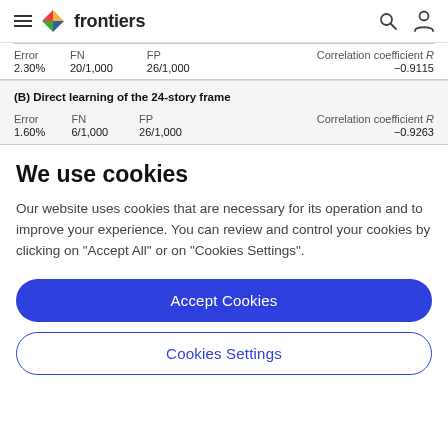frontiers
| Error | FN | FP | Correlation coefficient R |
| --- | --- | --- | --- |
| 2.30% | 20/1,000 | 26/1,000 | -0.9115 |
(B) Direct learning of the 24-story frame
| Error | FN | FP | Correlation coefficient R |
| --- | --- | --- | --- |
| 1.60% | 6/1,000 | 26/1,000 | -0.9263 |
We use cookies
Our website uses cookies that are necessary for its operation and to improve your experience. You can review and control your cookies by clicking on "Accept All" or on "Cookies Settings".
Accept Cookies
Cookies Settings